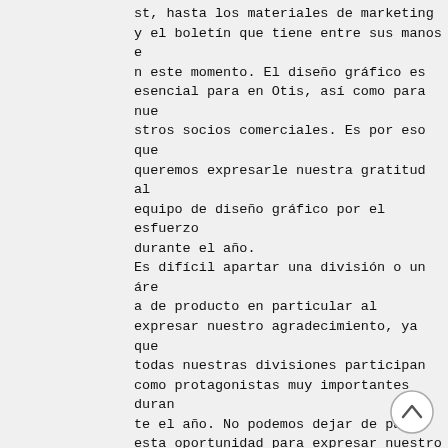st, hasta los materiales de marketing y el boletín que tiene entre sus manos en este momento. El diseño gráfico es esencial para en Otis, así como para nuestros socios comerciales. Es por eso que queremos expresarle nuestra gratitud al equipo de diseño gráfico por el esfuerzo durante el año.
Es difícil apartar una división o un área de producto en particular al expresar nuestro agradecimiento, ya que todas nuestras divisiones participan como protagonistas muy importantes durante el año. No podemos dejar de pasar esta oportunidad para expresar nuestro especial agradecimiento al equipo de exportación de Ghirardelli: nuestra división de ventas de exportación de San Francisco, a nuestra división de Travel Retail en Fort Lauderdale, y especialmente
a Dan Bush el director de Exportaciones y Travel Retail de Ghirardelli Chocolate.